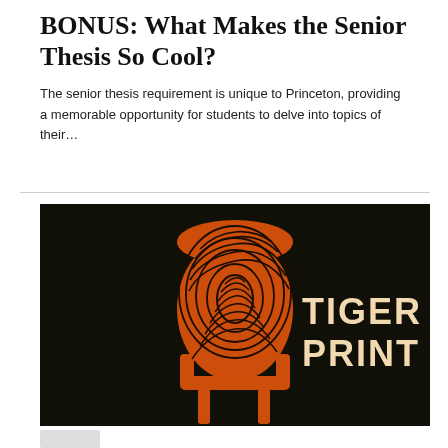BONUS: What Makes the Senior Thesis So Cool?
The senior thesis requirement is unique to Princeton, providing a memorable opportunity for students to delve into topics of their...
[Figure (illustration): Tiger Print podcast logo: orange microphone silhouette with fingerprint swirl pattern on dark black background, text reading TIGER PRINT in bold cream/tan letters on the right side]